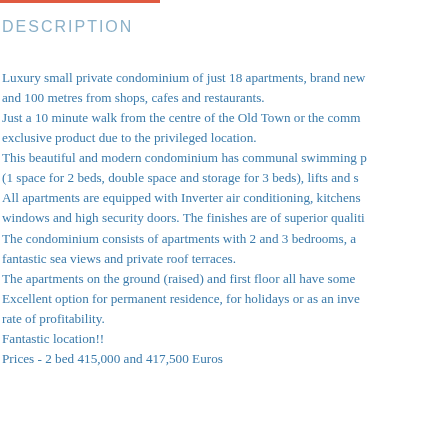DESCRIPTION
Luxury small private condominium of just 18 apartments, brand new and 100 metres from shops, cafes and restaurants. Just a 10 minute walk from the centre of the Old Town or the comm exclusive product due to the privileged location. This beautiful and modern condominium has communal swimming p (1 space for 2 beds, double space and storage for 3 beds), lifts and s All apartments are equipped with Inverter air conditioning, kitchens windows and high security doors. The finishes are of superior qualiti The condominium consists of apartments with 2 and 3 bedrooms, a fantastic sea views and private roof terraces. The apartments on the ground (raised) and first floor all have some Excellent option for permanent residence, for holidays or as an inve rate of profitability. Fantastic location!! Prices - 2 bed 415,000 and 417,500 Euros